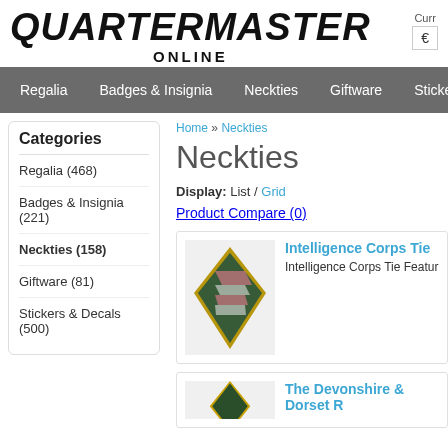[Figure (logo): Quartermaster Online logo with bold italic text and 'ONLINE' subtitle]
Curr € (currency selector)
Regalia | Badges & Insignia | Neckties | Giftware | Stickers &
Categories
Regalia (468)
Badges & Insignia (221)
Neckties (158)
Giftware (81)
Stickers & Decals (500)
Home » Neckties
Neckties
Display: List / Grid
Product Compare (0)
[Figure (photo): Intelligence Corps Tie - green striped necktie with pink and white stripes]
Intelligence Corps Tie
Intelligence Corps Tie Featur
The Devonshire & Dorset R